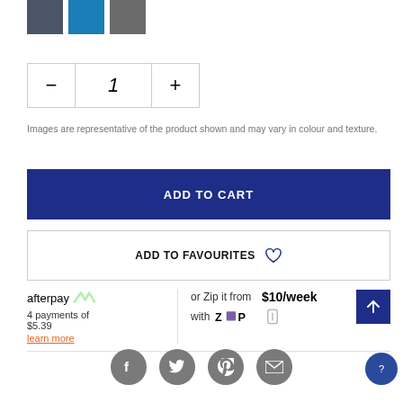[Figure (other): Three color swatches: dark grey/navy, bright blue, and medium grey]
[Figure (other): Quantity selector showing minus button, number 1, plus button]
Images are representative of the product shown and may vary in colour and texture.
ADD TO CART
ADD TO FAVOURITES
afterpay 4 payments of $5.39 learn more
or Zip it from $10/week with Zip
[Figure (other): Social sharing icons: Facebook, Twitter, Pinterest, Email]
[Figure (other): Help/info button circle bottom right]